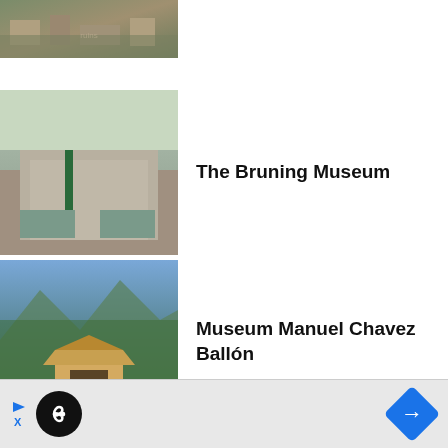[Figure (photo): Ruins/archaeological site with stone remains and vegetation, partially visible at top]
The Bruning Museum
Museum Manuel Chavez Ballón
Nazca Lines
Chauchilla Cemetery
[Figure (infographic): Advertisement bar with play button, infinity loop icon, and blue arrow navigation button]